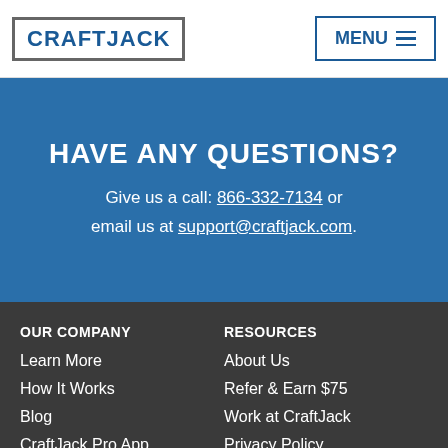CRAFTJACK | MENU
HAVE ANY QUESTIONS?
Give us a call: 866-332-7134 or email us at support@craftjack.com.
OUR COMPANY
Learn More
How It Works
Blog
CraftJack Pro App
Reputation Manager
RESOURCES
About Us
Refer & Earn $75
Work at CraftJack
Privacy Policy
California Privacy
Terms & Conditions